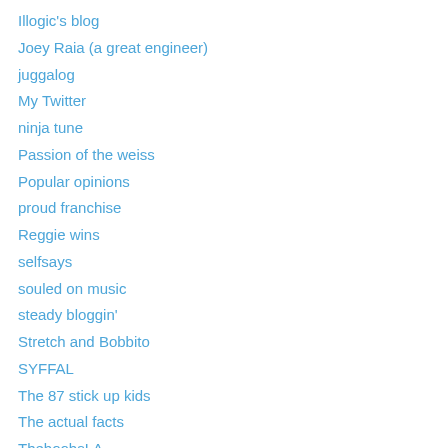Illogic's blog
Joey Raia (a great engineer)
juggalog
My Twitter
ninja tune
Passion of the weiss
Popular opinions
proud franchise
Reggie wins
selfsays
souled on music
steady bloggin'
Stretch and Bobbito
SYFFAL
The 87 stick up kids
The actual facts
TheboobsLA
TROY Blog
Victory-Light (The Kid Mero)
Werdemup